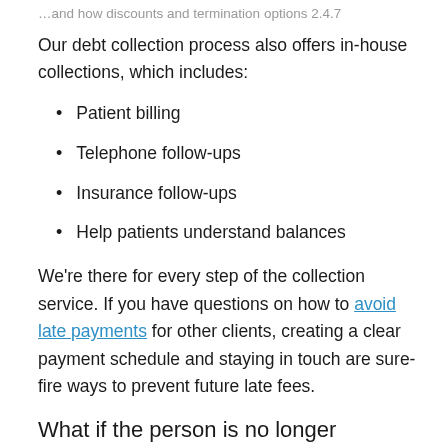…and how discounts and termination options 2.4.7
Our debt collection process also offers in-house collections, which includes:
Patient billing
Telephone follow-ups
Insurance follow-ups
Help patients understand balances
We're there for every step of the collection service. If you have questions on how to avoid late payments for other clients, creating a clear payment schedule and staying in touch are sure-fire ways to prevent future late fees.
What if the person is no longer